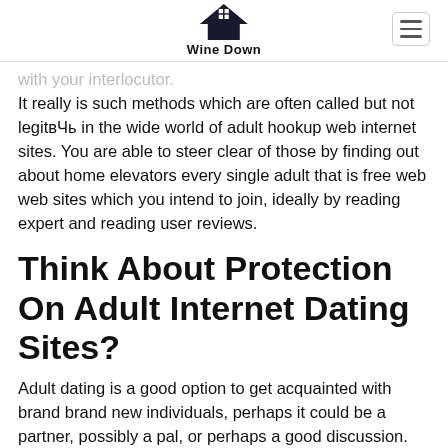Wine Down
with your interlocutor.
It really is such methods which are often called but not legitвЂќ in the wide world of adult hookup web internet sites. You are able to steer clear of those by finding out about home elevators every single adult that is free web web sites which you intend to join, ideally by reading expert and reading user reviews.
Think About Protection On Adult Internet Dating Sites?
Adult dating is a good option to get acquainted with brand brand new individuals, perhaps it could be a partner, possibly a pal, or perhaps a good discussion. But having said that, nonetheless, don't neglect to be just a little careful. System relationship is a good solution to become familiar with new individuals, perhaps it could be a partner, possibly a buddy, or